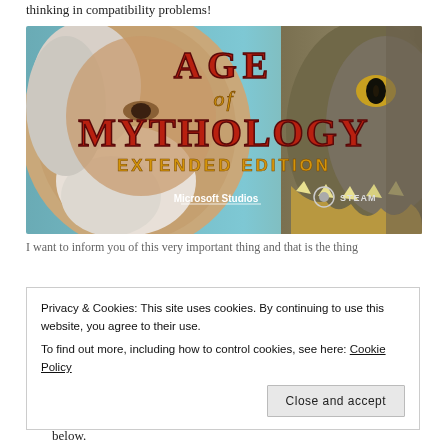thinking in compatibility problems!
[Figure (illustration): Age of Mythology Extended Edition game cover art showing Microsoft Studios and Steam logos, with a bearded figure on the left and a creature with golden teeth on the right against a teal background.]
I want to inform you of this very important thing and that is the thing below:
Privacy & Cookies: This site uses cookies. By continuing to use this website, you agree to their use.
To find out more, including how to control cookies, see here: Cookie Policy
Close and accept
below.